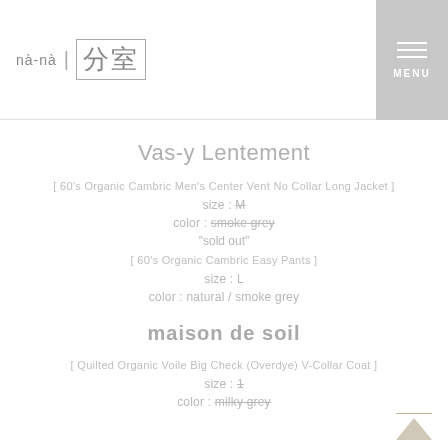nà-nà 分室 MENU
Vas-y Lentement
[ 60's Organic Cambric Men's Center Vent No Collar Long Jacket ]
size : M
color : smoke grey
"sold out"
[ 60's Organic Cambric Easy Pants ]
size : L
color : natural / smoke grey
maison de soil
[ Quilted Organic Voile Big Check (Overdye) V-Collar Coat ]
size : 1
color : milky grey